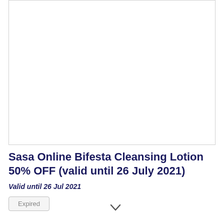[Figure (photo): White empty image box with border, representing a product image placeholder for Bifesta Cleansing Lotion]
Sasa Online Bifesta Cleansing Lotion 50% OFF (valid until 26 July 2021)
Valid until 26 Jul 2021
Expired